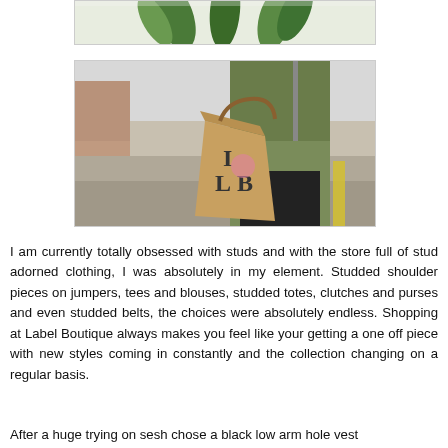[Figure (photo): Cropped bottom portion of a photo showing green leaves/plant stems, partially visible]
[Figure (photo): Person standing on a street holding a brown paper bag with 'I LB' printed on it, wearing a green jacket and black trousers]
I am currently totally obsessed with studs and with the store full of stud adorned clothing, I was absolutely in my element. Studded shoulder pieces on jumpers, tees and blouses, studded totes, clutches and purses and even studded belts, the choices were absolutely endless. Shopping at Label Boutique always makes you feel like your getting a one off piece with new styles coming in constantly and the collection changing on a regular basis.
After a huge trying on sesh chose a black low arm hole vest